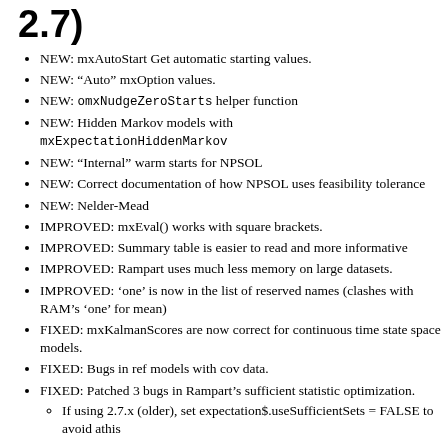2.7)
NEW: mxAutoStart Get automatic starting values.
NEW: “Auto” mxOption values.
NEW: omxNudgeZeroStarts helper function
NEW: Hidden Markov models with mxExpectationHiddenMarkov
NEW: “Internal” warm starts for NPSOL
NEW: Correct documentation of how NPSOL uses feasibility tolerance
NEW: Nelder-Mead
IMPROVED: mxEval() works with square brackets.
IMPROVED: Summary table is easier to read and more informative
IMPROVED: Rampart uses much less memory on large datasets.
IMPROVED: ‘one’ is now in the list of reserved names (clashes with RAM’s ‘one’ for mean)
FIXED: mxKalmanScores are now correct for continuous time state space models.
FIXED: Bugs in ref models with cov data.
FIXED: Patched 3 bugs in Rampart’s sufficient statistic optimization.
If using 2.7.x (older), set expectation$.useSufficientSets = FALSE to avoid athis